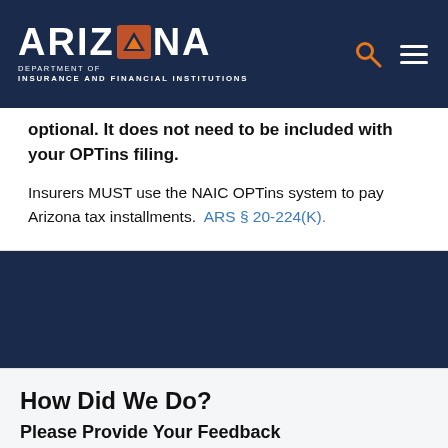Arizona Department of Insurance and Financial Institutions
optional.  It does not need to be included with your OPTins filing.
Insurers MUST use the NAIC OPTins system to pay Arizona tax installments.  ARS § 20-224(K).
How Did We Do?
Please Provide Your Feedback
To report errors with forms or instructions, or to